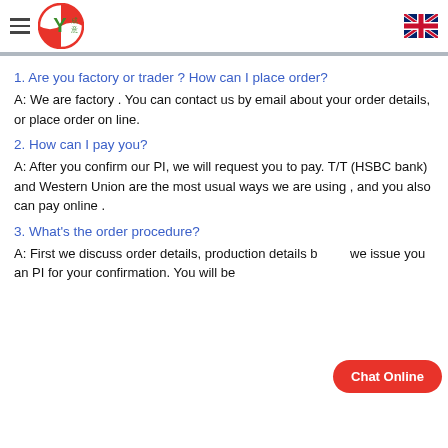Company logo header with hamburger menu and UK flag
1. Are you factory or trader ? How can I place order?
A: We are factory . You can contact us by email about your order details, or place order on line.
2. How can I pay you?
A: After you confirm our PI, we will request you to pay. T/T (HSBC bank) and Western Union are the most usual ways we are using , and you also can pay online .
3. What's the order procedure?
A: First we discuss order details, production details b... we issue you an PI for your confirmation. You will be requested to do p...